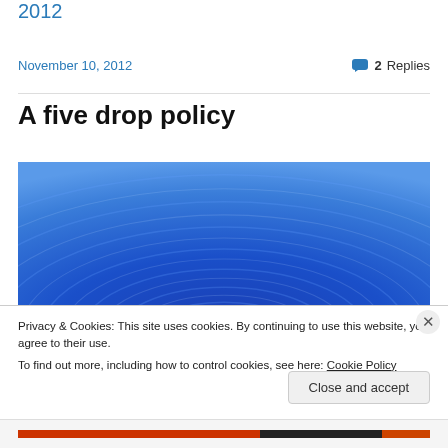2012
November 10, 2012   💬 2 Replies
A five drop policy
[Figure (photo): Abstract blue water ripple waves background image]
Privacy & Cookies: This site uses cookies. By continuing to use this website, you agree to their use.
To find out more, including how to control cookies, see here: Cookie Policy
Close and accept